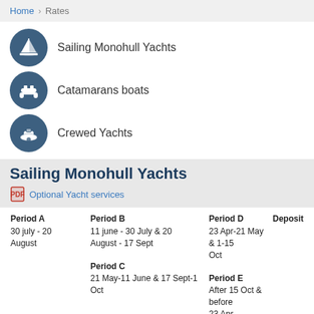Home > Rates
Sailing Monohull Yachts
Catamarans boats
Crewed Yachts
Sailing Monohull Yachts
Optional Yacht services
| Period A | Period B | Period D | Deposit |
| --- | --- | --- | --- |
| 30 july - 20 August | 11 june - 30 July & 20 August - 17 Sept
Period C
21 May-11 June & 17 Sept-1 Oct | 23 Apr-21 May & 1-15 Oct
Period E
After 15 Oct & before 23 Apr |  |
Sun Odyssey 44i  2009, Cab : 4